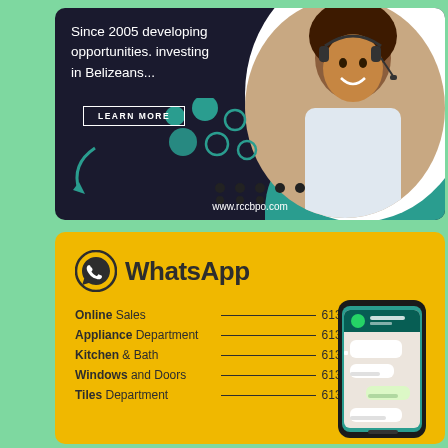[Figure (infographic): Dark-background advertising banner for rccbpo.com with text 'Since 2005 developing opportunities. investing in Belizeans...' and a LEARN MORE button, teal decorative circles and dots, white circular frame with photo of a woman wearing a headset, teal wave accent at bottom right, and URL www.rccbpo.com at bottom.]
[Figure (infographic): Yellow WhatsApp contact card listing: Online Sales 613-5581, Appliance Department 613-5583, Kitchen & Bath 613-5585, Windows and Doors 613-5584, Tiles Department 613-5586. Includes WhatsApp logo and icon, and a smartphone showing WhatsApp chat on the right side.]